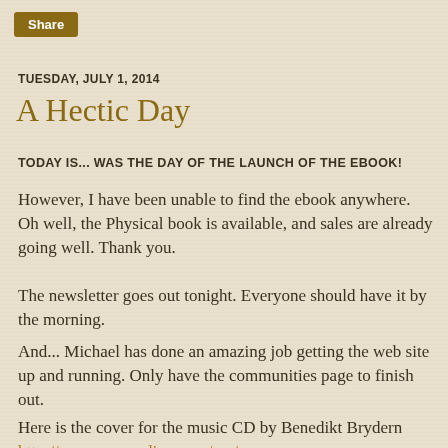Share
TUESDAY, JULY 1, 2014
A Hectic Day
TODAY IS... WAS THE DAY OF THE LAUNCH OF THE EBOOK!
However, I have been unable to find the ebook anywhere. Oh well, the Physical book is available, and sales are already going well. Thank you.
The newsletter goes out tonight. Everyone should have it by the morning.
And... Michael has done an amazing job getting the web site up and running. Only have the communities page to finish out.
Here is the cover for the music CD by Benedikt Brydern http://www.consordino.com/wp/